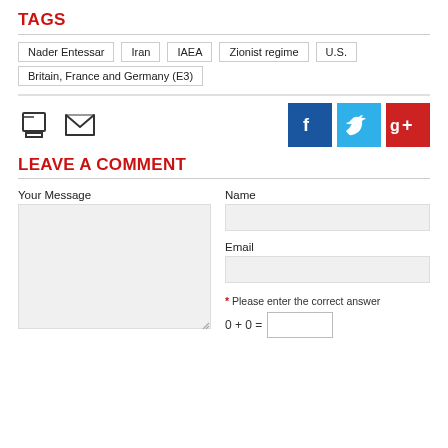TAGS
Nader Entessar
Iran
IAEA
Zionist regime
U.S.
Britain, France and Germany (E3)
[Figure (infographic): Print icon and email icon on the left; Facebook, Twitter, Google+ social media buttons on the right]
LEAVE A COMMENT
Your Message
Name
Email
* Please enter the correct answer